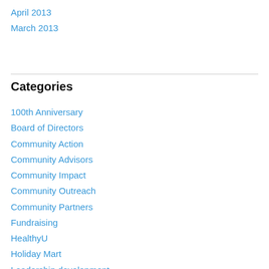April 2013
March 2013
Categories
100th Anniversary
Board of Directors
Community Action
Community Advisors
Community Impact
Community Outreach
Community Partners
Fundraising
HealthyU
Holiday Mart
Leadership development
League Events
Marketing
Membership